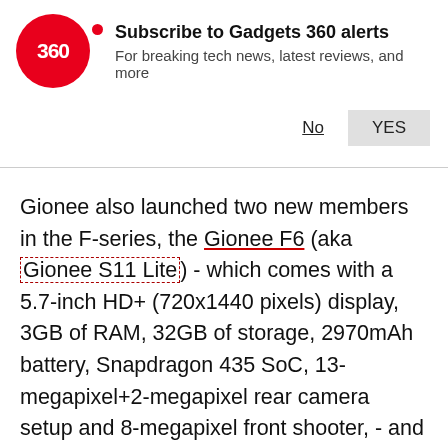[Figure (logo): Gadgets 360 logo: red circle with '360' in white text and a red dot, alongside text 'Subscribe to Gadgets 360 alerts' and subtitle 'For breaking tech news, latest reviews, and more', with No and YES buttons]
Gionee also launched two new members in the F-series, the Gionee F6 (aka Gionee S11 Lite) - which comes with a 5.7-inch HD+ (720x1440 pixels) display, 3GB of RAM, 32GB of storage, 2970mAh battery, Snapdragon 435 SoC, 13-megapixel+2-megapixel rear camera setup and 8-megapixel front shooter, - and the Gionee F205 - which packs a 5.45-inch HD+ (720x1440 pixels) display, 8-megapixel and 5-megapixel rear and front shooters, 2GB of RAM, 16GB of storage, MediaTek 6739 chipset, and a 2670mAh battery. The Gionee F6 and Gionee F205 are priced at CNY 1,299 (roughly Rs. 13,700) and CNY 999 (roughly Rs. 9,750)